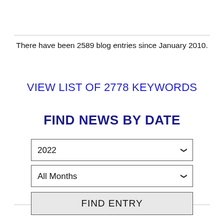There have been 2589 blog entries since January 2010.
VIEW LIST OF 2778 KEYWORDS
FIND NEWS BY DATE
2022 (dropdown)
All Months (dropdown)
FIND ENTRY (button)